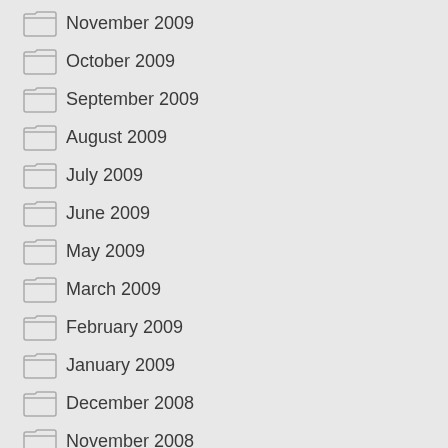November 2009
October 2009
September 2009
August 2009
July 2009
June 2009
May 2009
March 2009
February 2009
January 2009
December 2008
November 2008